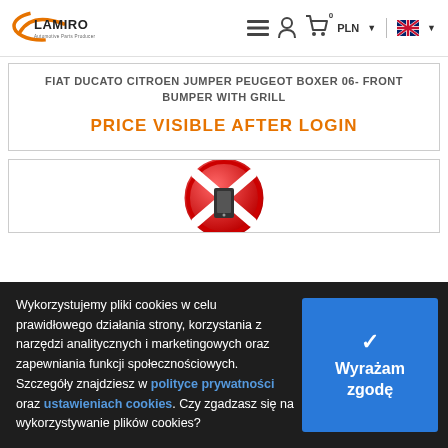[Figure (logo): Lamiro Automotive Parts Producer logo with orange swoosh graphic]
FIAT DUCATO CITROEN JUMPER PEUGEOT BOXER 06- FRONT BUMPER WITH GRILL
PRICE VISIBLE AFTER LOGIN
[Figure (illustration): Red no-entry / forbidden circle icon partially visible]
Wykorzystujemy pliki cookies w celu prawidłowego działania strony, korzystania z narzędzi analitycznych i marketingowych oraz zapewniania funkcji społecznościowych. Szczegóły znajdziesz w polityce prywatności oraz ustawieniach cookies. Czy zgadzasz się na wykorzystywanie plików cookies?